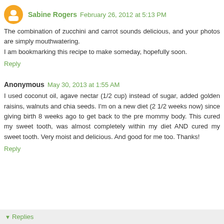Sabine Rogers  February 26, 2012 at 5:13 PM
The combination of zucchini and carrot sounds delicious, and your photos are simply mouthwatering.
I am bookmarking this recipe to make someday, hopefully soon.
Reply
Anonymous  May 30, 2013 at 1:55 AM
I used coconut oil, agave nectar (1/2 cup) instead of sugar, added golden raisins, walnuts and chia seeds. I'm on a new diet (2 1/2 weeks now) since giving birth 8 weeks ago to get back to the pre mommy body. This cured my sweet tooth, was almost completely within my diet AND cured my sweet tooth. Very moist and delicious. And good for me too. Thanks!
Reply
Replies